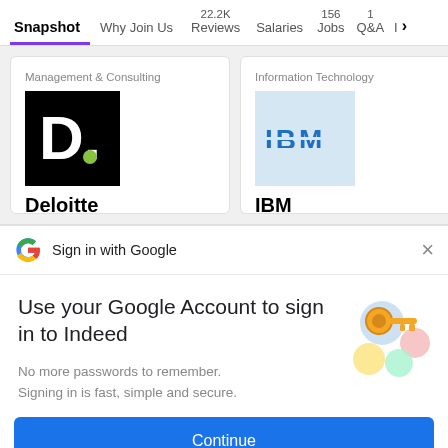Snapshot | Why Join Us | 22.2K Reviews | Salaries | 156 Jobs | 1 Q&A | I >
[Figure (screenshot): Company card for Deloitte under Management & Consulting category, with black D. logo]
[Figure (screenshot): Company card for IBM under Information Technology category, with IBM logo on light blue background]
[Figure (screenshot): Google sign-in dialog with Google G logo, heading 'Use your Google Account to sign in to Indeed', subtext 'No more passwords to remember. Signing in is fast, simple and secure.', key illustration, and Continue button]
Use your Google Account to sign in to Indeed
No more passwords to remember. Signing in is fast, simple and secure.